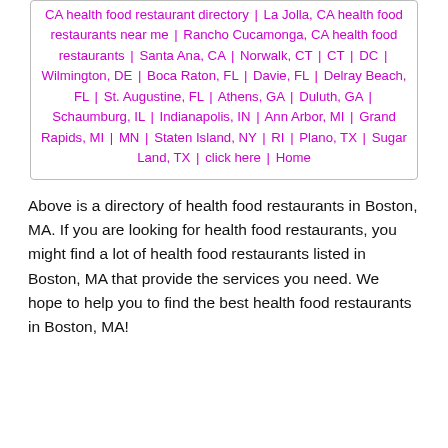CA health food restaurant directory | La Jolla, CA health food restaurants near me | Rancho Cucamonga, CA health food restaurants | Santa Ana, CA | Norwalk, CT | CT | DC | Wilmington, DE | Boca Raton, FL | Davie, FL | Delray Beach, FL | St. Augustine, FL | Athens, GA | Duluth, GA | Schaumburg, IL | Indianapolis, IN | Ann Arbor, MI | Grand Rapids, MI | MN | Staten Island, NY | RI | Plano, TX | Sugar Land, TX | click here | Home
Above is a directory of health food restaurants in Boston, MA. If you are looking for health food restaurants, you might find a lot of health food restaurants listed in Boston, MA that provide the services you need. We hope to help you to find the best health food restaurants in Boston, MA!